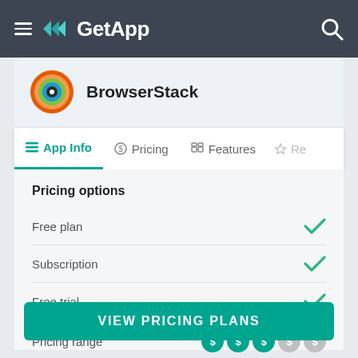GetApp
BrowserStack
App Info | Pricing | Features | Re
Pricing options
| Option | Available |
| --- | --- |
| Free plan | ✓ |
| Subscription | ✓ |
| Free trial | ✓ |
| Pricing range | $$$ |
VIEW PRICING PLANS